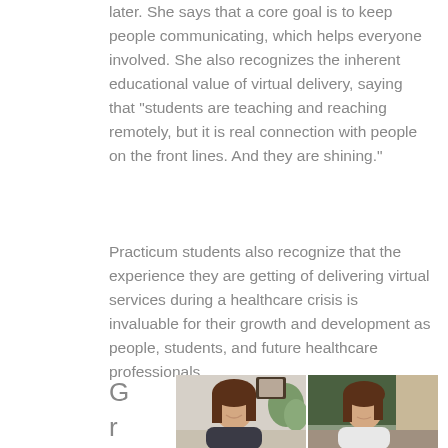later. She says that a core goal is to keep people communicating, which helps everyone involved. She also recognizes the inherent educational value of virtual delivery, saying that “students are teaching and reaching remotely, but it is real connection with people on the front lines. And they are shining.”
Practicum students also recognize that the experience they are getting of delivering virtual services during a healthcare crisis is invaluable for their growth and development as people, students, and future healthcare professionals.
G
r
a
d
[Figure (photo): Two young women appearing on video calls side by side. The woman on the left has long brown hair and is wearing a dark top, seated in front of a plant and framed picture. The woman on the right has long brown hair and is wearing a white top, in front of a green/grey background.]